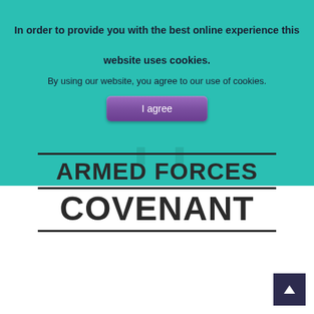[Figure (screenshot): Cookie consent overlay on a teal/turquoise background with a faint UK royal crest watermark. Contains a message about cookies and an 'I agree' button.]
In order to provide you with the best online experience this website uses cookies.
By using our website, you agree to our use of cookies.
[Figure (logo): Armed Forces Covenant logo: horizontal rules above and below 'ARMED FORCES' and 'COVENANT' in bold black text, with a partial UK royal lion crest above.]
ARMED FORCES COVENANT